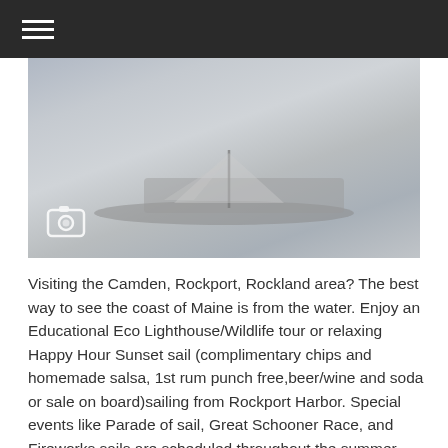≡
[Figure (photo): A schooner sailing vessel on the water, photographed from a distance. The image has a grayish-blue tone.]
Visiting the Camden, Rockport, Rockland area? The best way to see the coast of Maine is from the water. Enjoy an Educational Eco Lighthouse/Wildlife tour or relaxing Happy Hour Sunset sail (complimentary chips and homemade salsa, 1st rum punch free,beer/wine and soda or sale on board)sailing from Rockport Harbor. Special events like Parade of sail, Great Schooner Race, and Fireworks sails are scheduled throughout the summer. Private sails, custom charters, lunch and dinner sails also available for groups up to 30.
Schooner HERON is family built, owned and operated and is fast becoming a legend. Since her launch in 2003, she has